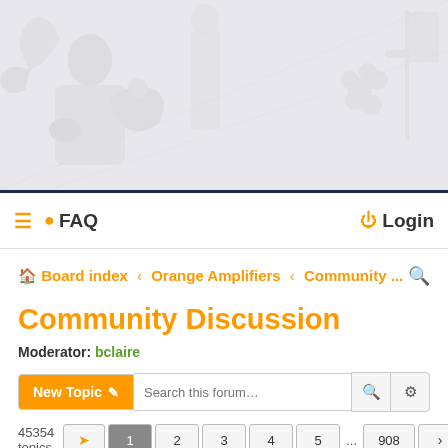[Figure (illustration): Gray banner with faint heraldic/medieval illustration figures including a person with a lion and flag/banner imagery on a light background]
≡ ● FAQ    ⏻ Login
🏠 Board index ‹ Orange Amplifiers ‹ Community ... 🔍
Community Discussion
Moderator: bclaire
New Topic ✏  Search this forum… 🔍 ⚙
45354 topics  ➡ 1 2 3 4 5 ... 908 ›
Topics